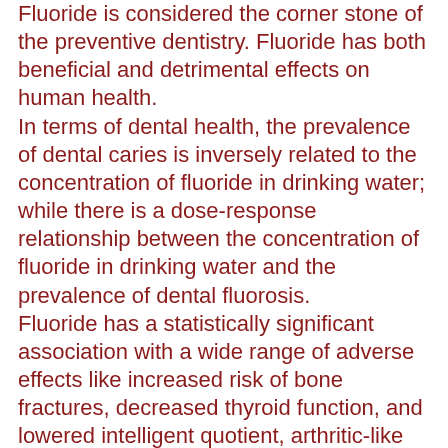Fluoride is considered the corner stone of the preventive dentistry. Fluoride has both beneficial and detrimental effects on human health. In terms of dental health, the prevalence of dental caries is inversely related to the concentration of fluoride in drinking water; while there is a dose-response relationship between the concentration of fluoride in drinking water and the prevalence of dental fluorosis. Fluoride has a statistically significant association with a wide range of adverse effects like increased risk of bone fractures, decreased thyroid function, and lowered intelligent quotient, arthritic-like condition, early puberty and possibly, osteosarcoma. The aim of the present review is to